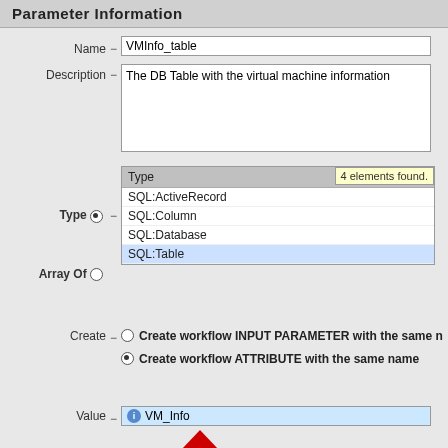Parameter Information
Name - VMInfo_table
Description - The DB Table with the virtual machine information
Type (radio selected) - Array Of (radio unselected) - dropdown list: Type, SQL:ActiveRecord, SQL:Column, SQL:Database, SQL:Table (selected) - 4 elements found.
Create - Create workflow INPUT PARAMETER with the same name (unselected) - Create workflow ATTRIBUTE with the same name (selected)
Value - VM_Info